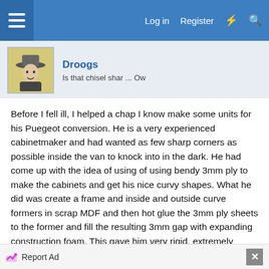Log in  Register
Droogs
Is that chisel shar ... Ow
Before I fell ill, I helped a chap I know make some units for his Puegeot conversion. He is a very experienced cabinetmaker and had wanted as few sharp corners as possible inside the van to knock into in the dark. He had come up with the idea of using of using bendy 3mm ply to make the cabinets and get his nice curvy shapes. What he did was create a frame and inside and outside curve formers in scrap MDF and then hot glue the 3mm ply sheets to the former and fill the resulting 3mm gap with expanding construction foam. This gave him very rigid, extremely
Report Ad